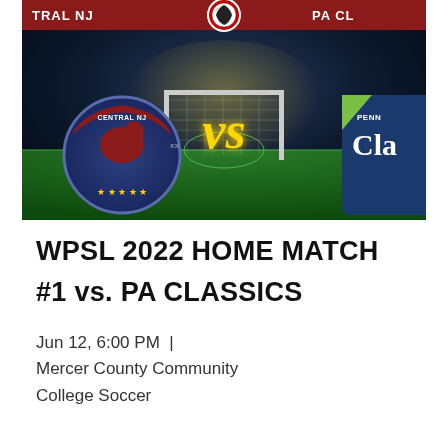[Figure (photo): WPSL soccer match promotional graphic showing Central NJ vs PA Classics. Features team logos, a glowing VS text in gold on a soccer field/goal background, with red top bar showing team names and WPSL badge with soccer ball.]
WPSL 2022 HOME MATCH
#1 vs. PA CLASSICS
Jun 12, 6:00 PM  |  Mercer County Community College Soccer